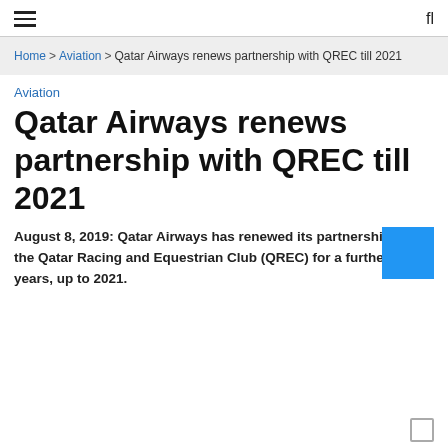≡  fl
Home > Aviation > Qatar Airways renews partnership with QREC till 2021
Aviation
Qatar Airways renews partnership with QREC till 2021
August 8, 2019: Qatar Airways has renewed its partnership with the Qatar Racing and Equestrian Club (QREC) for a further three years, up to 2021.